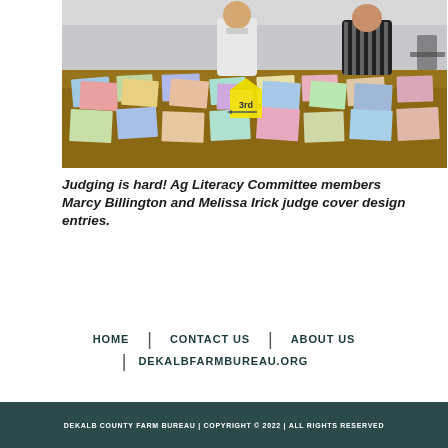[Figure (photo): Two people standing at a large table covered with colorful children's artwork/drawings. A yellow tent card with '3rd' and an arrow is visible in the center of the table. The setting appears to be a conference or meeting room.]
Judging is hard! Ag Literacy Committee members Marcy Billington and Melissa Irick judge cover design entries.
HOME | CONTACT US | ABOUT US | DEKALBFARMBUREAU.ORG
DEKALB COUNTY FARM BUREAU | COPYRIGHT © 2022 | ALL RIGHTS RESERVED